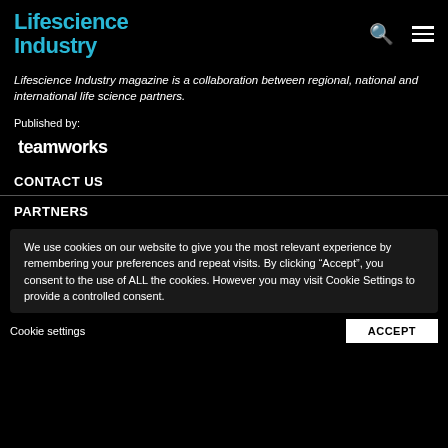Lifescience Industry
Lifescience Industry magazine is a collaboration between regional, national and international life science partners.
Published by:
teamworks
CONTACT US
PARTNERS
We use cookies on our website to give you the most relevant experience by remembering your preferences and repeat visits. By clicking “Accept”, you consent to the use of ALL the cookies. However you may visit Cookie Settings to provide a controlled consent.
Cookie settings
ACCEPT